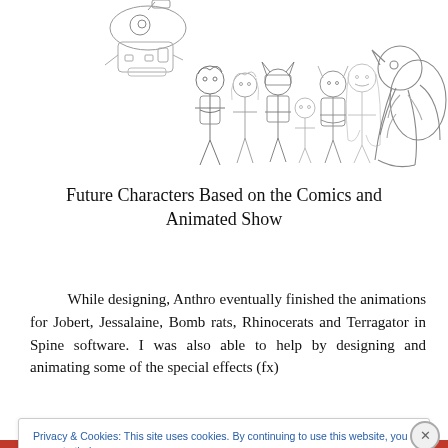[Figure (illustration): Pencil sketch of anime/chibi-style characters lined up, including humanoid characters and a large creature on the right, with a robot or vehicle at the top left.]
Future Characters Based on the Comics and Animated Show
While designing, Anthro eventually finished the animations for Jobert, Jessalaine, Bomb rats, Rhinocerats and Terragator in Spine software. I was also able to help by designing and animating some of the special effects (fx)
Privacy & Cookies: This site uses cookies. By continuing to use this website, you agree to their use.
To find out more, including how to control cookies, see here: Cookie Policy
Close and accept